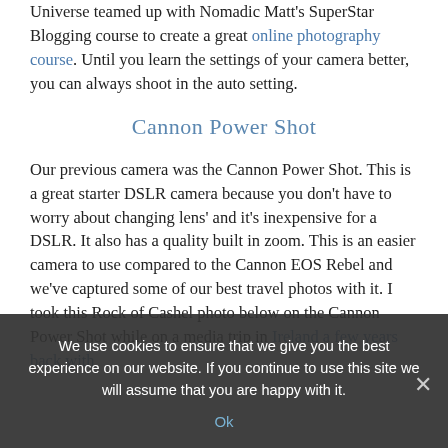Universe teamed up with Nomadic Matt's SuperStar Blogging course to create a great online photography course. Until you learn the settings of your camera better, you can always shoot in the auto setting.
Cannon Power Shot
Our previous camera was the Cannon Power Shot. This is a great starter DSLR camera because you don't have to worry about changing lens' and it's inexpensive for a DSLR. It also has a quality built in zoom. This is an easier camera to use compared to the Cannon EOS Rebel and we've captured some of our best travel photos with it. I took this Rock of Cashel photo below on the Cannon Power Shot while on a media trip in Ireland a few years back with
We use cookies to ensure that we give you the best experience on our website. If you continue to use this site we will assume that you are happy with it.
Ok